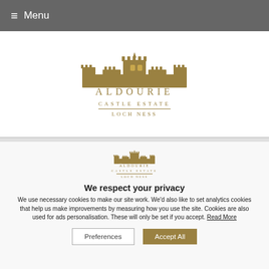≡ Menu
[Figure (logo): Aldourie Castle Estate Loch Ness logo — illustrated castle above text reading ALDOURIE / CASTLE ESTATE / LOCH NESS in gold]
[Figure (logo): Smaller version of Aldourie Castle Estate Loch Ness logo in gold]
We respect your privacy
We use necessary cookies to make our site work. We'd also like to set analytics cookies that help us make improvements by measuring how you use the site. Cookies are also used for ads personalisation. These will only be set if you accept. Read More
Preferences
Accept All